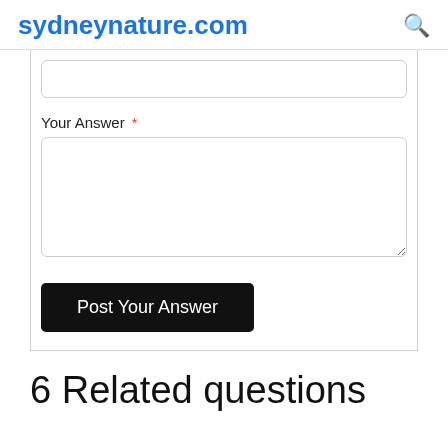sydneynature.com
Your Answer *
Post Your Answer
6 Related questions